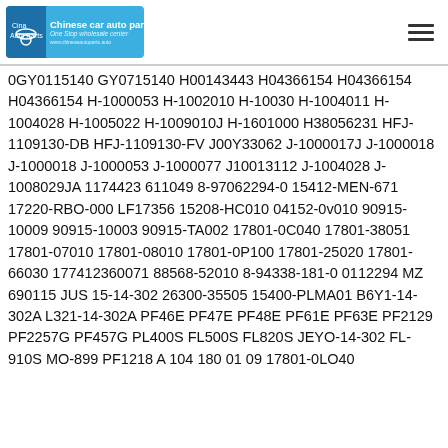Chinese car auto parts — One Stop wholesale center
0GY0115140 GY0715140 H00143443 H04366154 H04366154 H04366154 H-1000053 H-1002010 H-10030 H-1004011 H-1004028 H-1005022 H-1009010J H-1601000 H38056231 HFJ-1109130-DB HFJ-1109130-FV J00Y33062 J-1000017J J-1000018 J-1000018 J-1000053 J-1000077 J10013112 J-1004028 J-1008029JA 1174423 611049 8-97062294-0 15412-MEN-671 17220-RBO-000 LF17356 15208-HC010 04152-0v010 90915-10009 90915-10003 90915-TA002 17801-0C040 17801-38051 17801-07010 17801-08010 17801-0P100 17801-25020 17801-66030 177412360071 88568-52010 8-94338-181-0 0112294 MZ 690115 JUS 15-14-302 26300-35505 15400-PLMA01 B6Y1-14-302A L321-14-302A PF46E PF47E PF48E PF61E PF63E PF2129 PF2257G PF457G PL400S FL500S FL820S JEYO-14-302 FL-910S MO-899 PF1218 A 104 180 01 09 17801-0LO40